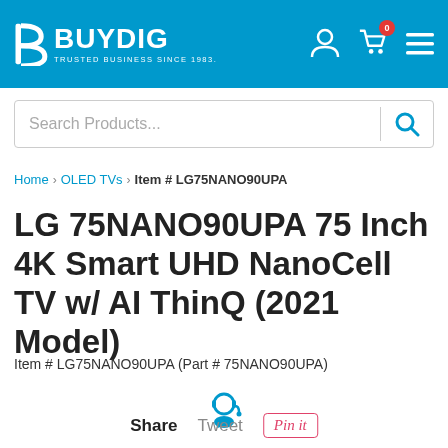[Figure (logo): BuyDig logo - blue background with white B icon and BUYDIG text, tagline 'TRUSTED BUSINESS SINCE 1983']
[Figure (screenshot): Search bar with placeholder 'Search Products...' and search icon]
Home › OLED TVs › Item # LG75NANO90UPA
LG 75NANO90UPA 75 Inch 4K Smart UHD NanoCell TV w/ AI ThinQ (2021 Model)
Item # LG75NANO90UPA (Part # 75NANO90UPA)
[Figure (illustration): Customer support chat headset icon in teal/blue]
Share   Tweet   Pin it